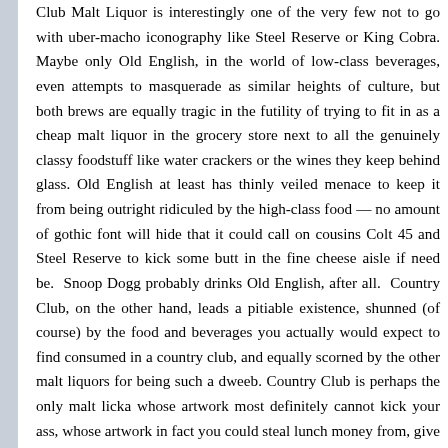Club Malt Liquor is interestingly one of the very few not to go with uber-macho iconography like Steel Reserve or King Cobra. Maybe only Old English, in the world of low-class beverages, even attempts to masquerade as similar heights of culture, but both brews are equally tragic in the futility of trying to fit in as a cheap malt liquor in the grocery store next to all the genuinely classy foodstuff like water crackers or the wines they keep behind glass. Old English at least has thinly veiled menace to keep it from being outright ridiculed by the high-class food — no amount of gothic font will hide that it could call on cousins Colt 45 and Steel Reserve to kick some butt in the fine cheese aisle if need be. Snoop Dogg probably drinks Old English, after all. Country Club, on the other hand, leads a pitiable existence, shunned (of course) by the food and beverages you actually would expect to find consumed in a country club, and equally scorned by the other malt liquors for being such a dweeb. Country Club is perhaps the only malt licka whose artwork most definitely cannot kick your ass, whose artwork in fact you could steal lunch money from, give a wedie, then a swirlie. I wonder if it hangs out with other supermarket outcasts, like the sardines, or the little thin cigars with plastic mouthpieces.

The picture I include with this post is intended as testimony that I